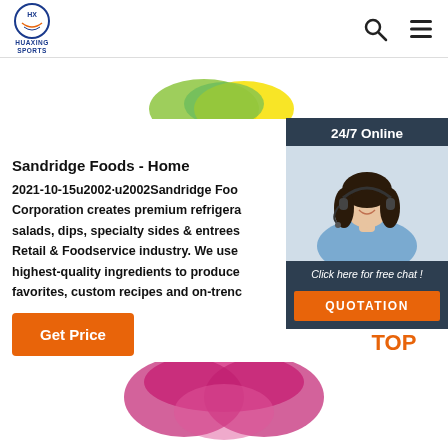HUAXING SPORTS
[Figure (photo): Partial view of a product (colorful food or sports item) at the top of the page]
[Figure (photo): 24/7 Online chat widget with a smiling woman wearing a headset, 'Click here for free chat!' text and QUOTATION button]
Sandridge Foods - Home
2021-10-15u2002·u2002Sandridge Foods Corporation creates premium refrigerated salads, dips, specialty sides & entrees for the Retail & Foodservice industry. We use the highest-quality ingredients to produce family favorites, custom recipes and on-trend
[Figure (infographic): Get Price orange button]
[Figure (infographic): TOP navigation button with orange dots forming an inverted V shape above the text TOP]
[Figure (photo): Partial view of a pink/magenta product (sportswear or food item) at the bottom of the page]